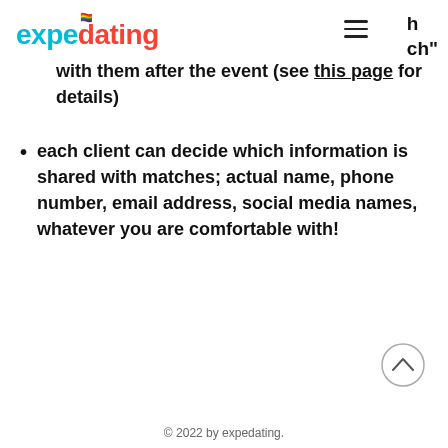[Figure (logo): expedating logo in cyan and red with rainbow heart accent, hamburger menu icon, and partial text 'h' and 'ch"' visible at top right]
with them after the event (see this page for details)
each client can decide which information is shared with matches; actual name, phone number, email address, social media names, whatever you are comfortable with!
© 2022 by expedating.